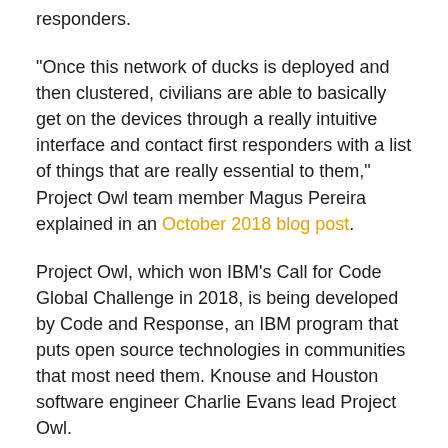responders.
"Once this network of ducks is deployed and then clustered, civilians are able to basically get on the devices through a really intuitive interface and contact first responders with a list of things that are really essential to them," Project Owl team member Magus Pereira explained in an October 2018 blog post.
Project Owl, which won IBM's Call for Code Global Challenge in 2018, is being developed by Code and Response, an IBM program that puts open source technologies in communities that most need them. Knouse and Houston software engineer Charlie Evans lead Project Owl.
In a June 6 blog post, Evans recalled the widespread damage his hometown suffered during Hurricane Harvey and stressed the importance of efforts like